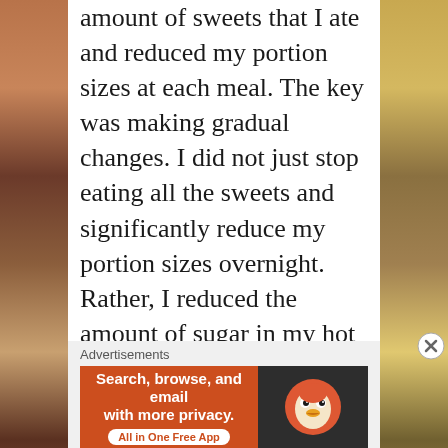amount of sweets that I ate and reduced my portion sizes at each meal. The key was making gradual changes. I did not just stop eating all the sweets and significantly reduce my portion sizes overnight. Rather, I reduced the amount of sugar in my hot drinks from 2 tsp to 1 tsp to 1/2 tsp and now, I do not have any sugar in my drinks. And if I did want a sweet tea, I would add a tsp of honey 🤩 instead. I did not have those 3-in-1 coffees/teas that would have all the coffee, milk & sugar in them as they contain a lot of sugar! If I was craving for a 3-in-1 coffee, I would have 1/3 or 1/2 a packet instead. These might not sound like big changes but they all add up. And it is true
Advertisements
[Figure (other): DuckDuckGo advertisement banner: orange left panel with text 'Search, browse, and email with more privacy. All in One Free App' and dark right panel with DuckDuckGo logo]